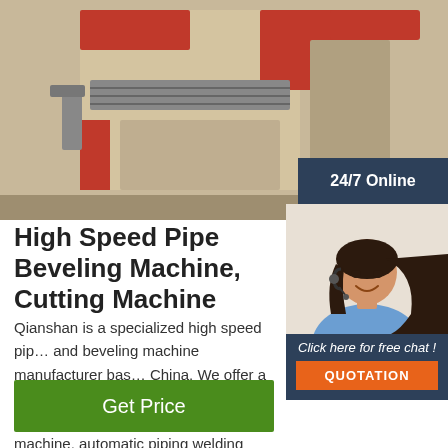[Figure (photo): Industrial pipe beveling/cutting machine with red and beige/cream colored panels on a factory floor]
[Figure (photo): 24/7 Online chat widget showing a smiling woman with headset, with 'Click here for free chat!' text and an orange QUOTATION button]
High Speed Pipe Beveling Machine, Cutting Machine
Qianshan is a specialized high speed pipe and beveling machine manufacturer based in China. We offer a comprehensive range of products, including radial pipe end beveling machine, automatic piping welding machine, transverse pipe automatic conveying system, pipe fabrication production line, and more. Related products
Get Price